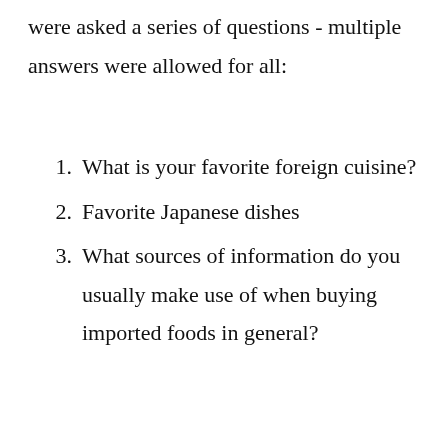were asked a series of questions - multiple answers were allowed for all:
1. What is your favorite foreign cuisine?
2. Favorite Japanese dishes
3. What sources of information do you usually make use of when buying imported foods in general?